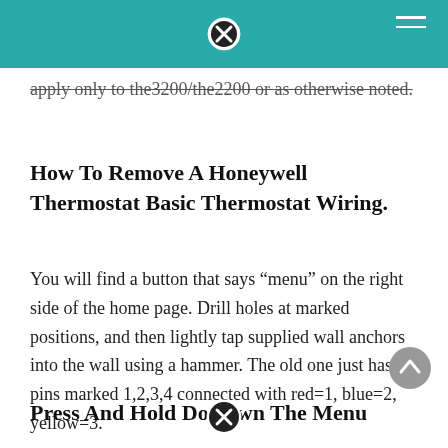apply only to the3200/the2200 or as otherwise noted.
How To Remove A Honeywell Thermostat Basic Thermostat Wiring.
You will find a button that says “menu” on the right side of the home page. Drill holes at marked positions, and then lightly tap supplied wall anchors into the wall using a hammer. The old one just has pins marked 1,2,3,4 connected with red=1, blue=2, yellow=3.
Press And Hold Down The Menu